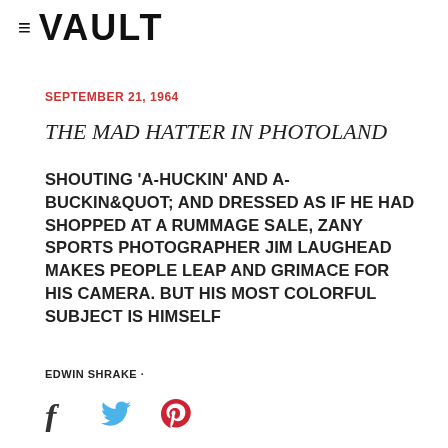≡ VAULT
SEPTEMBER 21, 1964
THE MAD HATTER IN PHOTOLAND
SHOUTING 'A-HUCKIN' AND A-BUCKIN&QUOT; AND DRESSED AS IF HE HAD SHOPPED AT A RUMMAGE SALE, ZANY SPORTS PHOTOGRAPHER JIM LAUGHEAD MAKES PEOPLE LEAP AND GRIMACE FOR HIS CAMERA. BUT HIS MOST COLORFUL SUBJECT IS HIMSELF
EDWIN SHRAKE ·
[Figure (other): Social share icons: Facebook, Twitter, Pinterest]